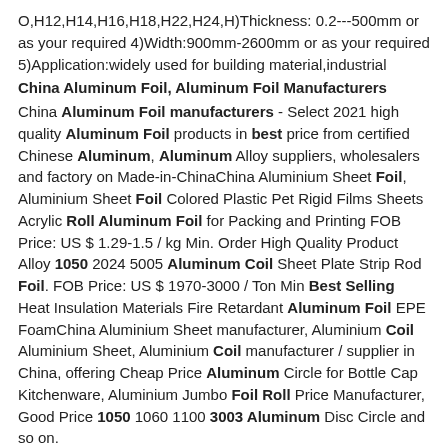O,H12,H14,H16,H18,H22,H24,H)Thickness: 0.2---500mm or as your required 4)Width:900mm-2600mm or as your required 5)Application:widely used for building material,industrial
China Aluminum Foil, Aluminum Foil Manufacturers
China Aluminum Foil manufacturers - Select 2021 high quality Aluminum Foil products in best price from certified Chinese Aluminum, Aluminum Alloy suppliers, wholesalers and factory on Made-in-ChinaChina Aluminium Sheet Foil, Aluminium Sheet Foil Colored Plastic Pet Rigid Films Sheets Acrylic Roll Aluminum Foil for Packing and Printing FOB Price: US $ 1.29-1.5 / kg Min. Order High Quality Product Alloy 1050 2024 5005 Aluminum Coil Sheet Plate Strip Rod Foil. FOB Price: US $ 1970-3000 / Ton Min Best Selling Heat Insulation Materials Fire Retardant Aluminum Foil EPE FoamChina Aluminium Sheet manufacturer, Aluminium Coil Aluminium Sheet, Aluminium Coil manufacturer / supplier in China, offering Cheap Price Aluminum Circle for Bottle Cap Kitchenware, Aluminium Jumbo Foil Roll Price Manufacturer, Good Price 1050 1060 1100 3003 Aluminum Disc Circle and so on.
China Aluminium Sheet, Aluminium Coil, Color Coated
Sep 09, 2020 1050 100mm Stamping Aluminum Wafer (Aluminum Circle /Aluminum Disc US $ 0.380-0.600/Ton